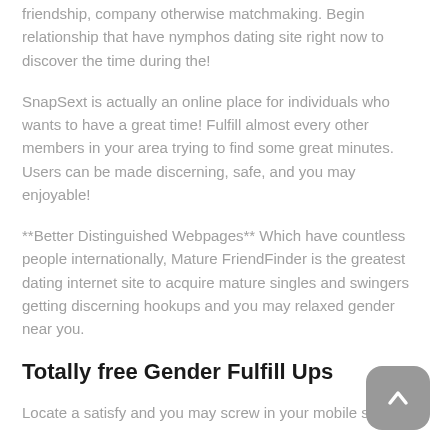friendship, company otherwise matchmaking. Begin relationship that have nymphos dating site right now to discover the time during the!
SnapSext is actually an online place for individuals who wants to have a great time! Fulfill almost every other members in your area trying to find some great minutes. Users can be made discerning, safe, and you may enjoyable!
**Better Distinguished Webpages** Which have countless people internationally, Mature FriendFinder is the greatest dating internet site to acquire mature singles and swingers getting discerning hookups and you may relaxed gender near you.
Totally free Gender Fulfill Ups
Locate a satisfy and you may screw in your mobile simply